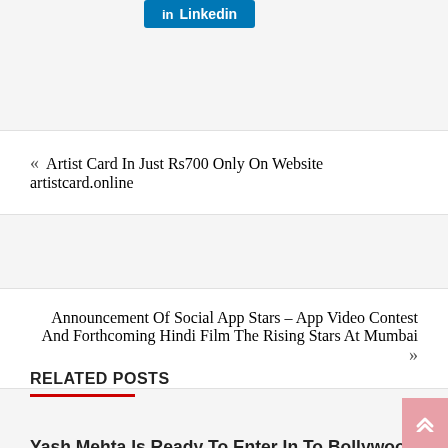[Figure (other): LinkedIn share button with 'in' icon and 'Linkedin' text on blue background]
« Artist Card In Just Rs700 Only On Website artistcard.online
Announcement Of Social App Stars – App Video Contest And Forthcoming Hindi Film The Rising Stars At Mumbai »
RELATED POSTS
Yash Mehta Is Ready To Enter In To Bollywood With The Film MATCH OF LIFE
July 28, 2022